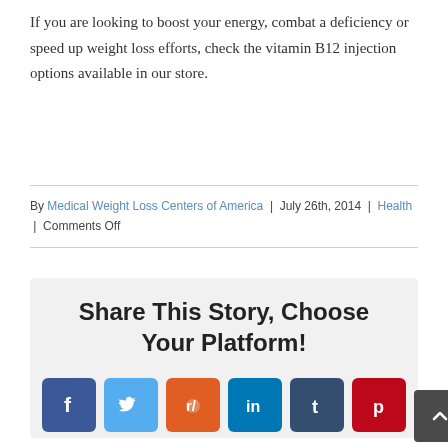If you are looking to boost your energy, combat a deficiency or speed up weight loss efforts, check the vitamin B12 injection options available in our store.
By Medical Weight Loss Centers of America | July 26th, 2014 | Health | Comments Off
Share This Story, Choose Your Platform!
[Figure (infographic): Social sharing buttons: Facebook (blue), Twitter (light blue), Reddit (orange), LinkedIn (teal), Tumblr (dark blue), Pinterest (red), and a dark scroll-to-top button]